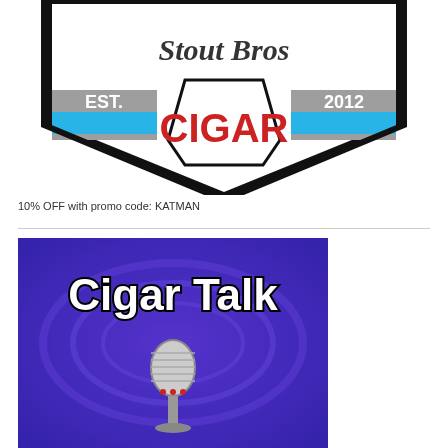[Figure (logo): Shield-shaped logo with script text at top partially visible, 'EST.' on left gray panel, '2012' on right gray panel, 'CIGAR' in large red text on white center panel, blue horizontal stripe across middle, black shield border with point at bottom. Blue and gray color scheme.]
10% OFF with promo code: KATMAN
[Figure (logo): Cigar Talk logo on blue/purple background with 'Cigar Talk' text in bold black outlined letters, and a vintage microphone in the lower portion of the image.]